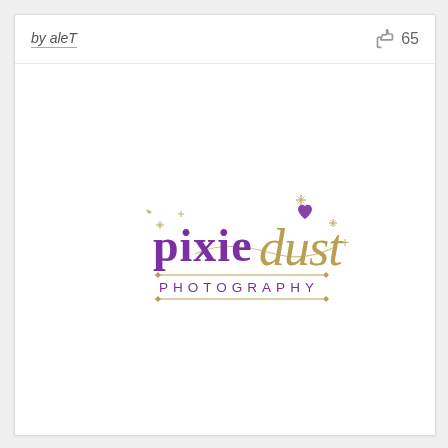by aleT
65
[Figure (logo): Pixie Dust Photography logo: 'pixie' in purple serif font, 'dust' in gold cursive script with sparkle decorations and a purple heart, 'PHOTOGRAPHY' in gold spaced capital letters below, with gold horizontal lines flanking the text.]